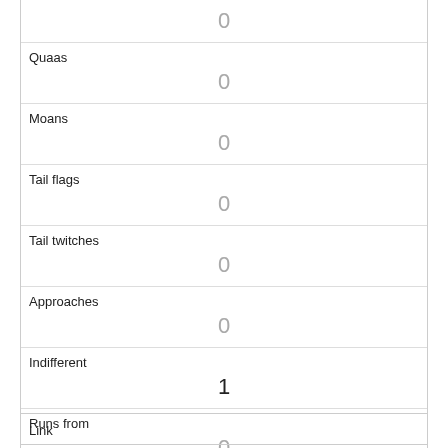|  | 0 |
| Quaas | 0 |
| Moans | 0 |
| Tail flags | 0 |
| Tail twitches | 0 |
| Approaches | 0 |
| Indifferent | 1 |
| Runs from | 0 |
| Other Interactions |  |
| Lat/Long | POINT (-73.9705092958892 40.7761092972965) |
| Link |  |